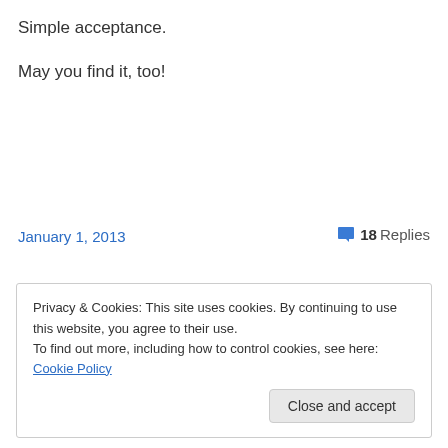Simple acceptance.
May you find it, too!
January 1, 2013
18 Replies
Privacy & Cookies: This site uses cookies. By continuing to use this website, you agree to their use.
To find out more, including how to control cookies, see here: Cookie Policy
Close and accept